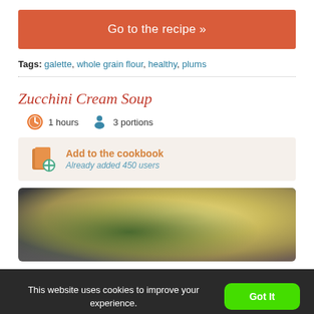Go to the recipe »
Tags: galette, whole grain flour, healthy, plums
Zucchini Cream Soup
1 hours   3 portions
Add to the cookbook Already added 450 users
[Figure (photo): Bowl of zucchini cream soup with green herb garnish on dark background]
This website uses cookies to improve your experience.